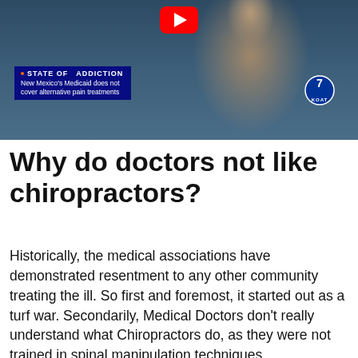[Figure (screenshot): YouTube video thumbnail screenshot showing a news broadcast. A bearded man in a blue shirt and green tie is visible. A news lower-third bar reads STATE OF ADDICTION / New Mexico's Medicaid does not cover alternative pain treatments, with KOAT channel 7 logo. A YouTube play button is visible at the top center.]
Why do doctors not like chiropractors?
Historically, the medical associations have demonstrated resentment to any other community treating the ill. So first and foremost, it started out as a turf war. Secondarily, Medical Doctors don't really understand what Chiropractors do, as they were not trained in spinal manipulation techniques.